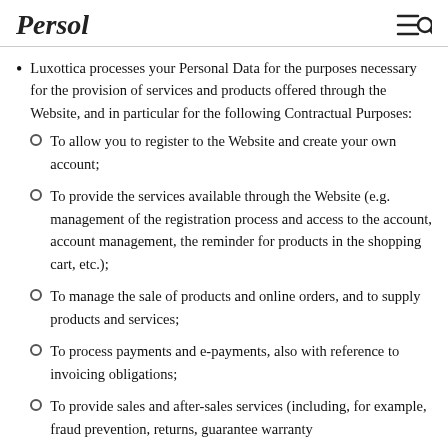Persol
Luxottica processes your Personal Data for the purposes necessary for the provision of services and products offered through the Website, and in particular for the following Contractual Purposes:
To allow you to register to the Website and create your own account;
To provide the services available through the Website (e.g. management of the registration process and access to the account, account management, the reminder for products in the shopping cart, etc.);
To manage the sale of products and online orders, and to supply products and services;
To process payments and e-payments, also with reference to invoicing obligations;
To provide sales and after-sales services (including, for example, fraud prevention, returns, guarantee warranty